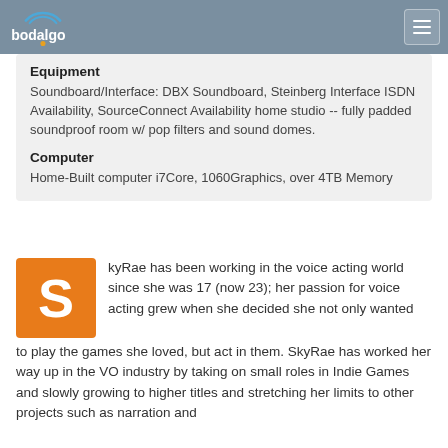bodalgo
Equipment
Soundboard/Interface: DBX Soundboard, Steinberg Interface ISDN Availability, SourceConnect Availability home studio -- fully padded soundproof room w/ pop filters and sound domes.
Computer
Home-Built computer i7Core, 1060Graphics, over 4TB Memory
kyRae has been working in the voice acting world since she was 17 (now 23); her passion for voice acting grew when she decided she not only wanted to play the games she loved, but act in them. SkyRae has worked her way up in the VO industry by taking on small roles in Indie Games and slowly growing to higher titles and stretching her limits to other projects such as narration and